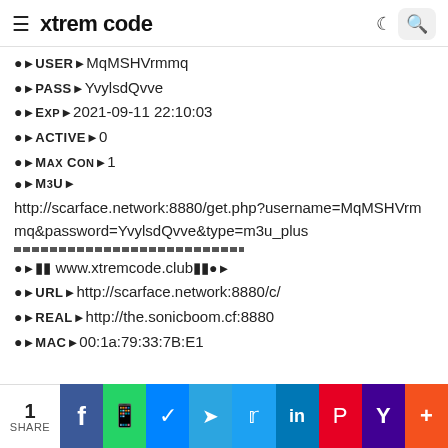≡ xtrem code
●►USER►MqMSHVrmmq
●►PASS►YvylsdQvve
●►EXP► 2021-09-11 22:10:03
●►ACTIVE►0
●►MAX CON► 1
●►M3U► http://scarface.network:8880/get.php?username=MqMSHVrmmq&password=YvylsdQvve&type=m3u_plus
●►🔲🔲 www.xtremcode.club🔲🔲●►
●►URL ► http://scarface.network:8880/c/
●►REAL► http://the.sonicboom.cf:8880
●►MAC► 00:1a:79:33:7B:E1
1 SHARE | Facebook | WhatsApp | Messenger | Telegram | Twitter | LinkedIn | Pinterest | Yahoo | More